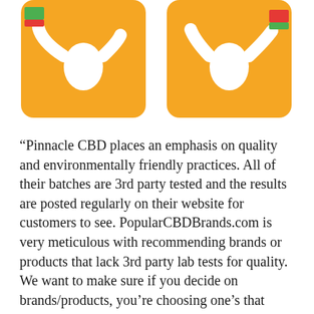[Figure (illustration): Two illustrated figures (white silhouettes) on orange rounded rectangle backgrounds, each holding colored flags/banners, shown cropped at top of page.]
“Pinnacle CBD places an emphasis on quality and environmentally friendly practices. All of their batches are 3rd party tested and the results are posted regularly on their website for customers to see. PopularCBDBrands.com is very meticulous with recommending brands or products that lack 3rd party lab tests for quality. We want to make sure if you decide on brands/products, you’re choosing one’s that don’t have impurities.”
full review